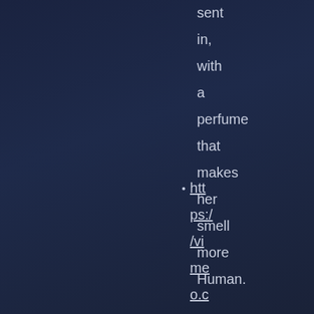sent in, with a perfume that makes her smell more Human.
https://vimeo.com/338722